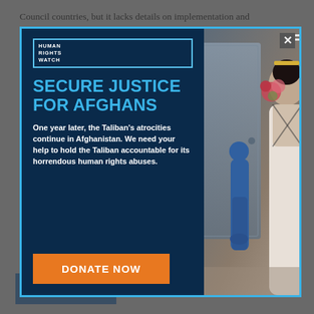Council countries, but it lacks details on implementation and enforcement and does not apply to domestic workers.
Migrant workers in the Gulf Cooperation Council countries
[Figure (screenshot): Human Rights Watch popup advertisement with headline 'SECURE JUSTICE FOR AFGHANS', body text about Taliban atrocities, a DONATE NOW button, and a photograph showing two women — one in a blue burqa and one in a wedding dress holding flowers.]
change your settings.
Accept
Other options